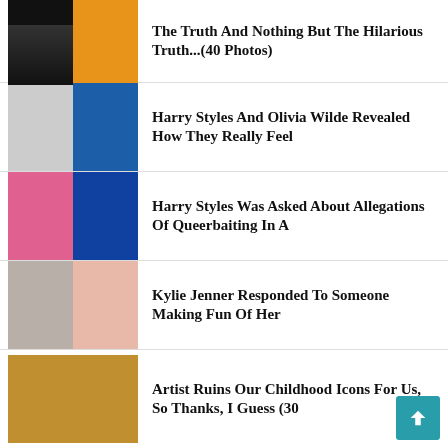The Truth And Nothing But The Hilarious Truth...(40 Photos)
Harry Styles And Olivia Wilde Revealed How They Really Feel
Harry Styles Was Asked About Allegations Of Queerbaiting In A
Kylie Jenner Responded To Someone Making Fun Of Her
Artist Ruins Our Childhood Icons For Us, So Thanks, I Guess (30